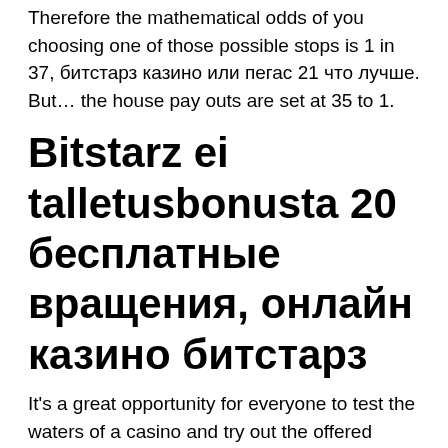Therefore the mathematical odds of you choosing one of those possible stops is 1 in 37, битстарз казино или пегас 21 что лучше. But… the house pay outs are set at 35 to 1.
Bitstarz ei talletusbonusta 20 бесплатные вращения, онлайн казино битстарз
It's a great opportunity for everyone to test the waters of a casino and try out the offered gambles and features without risking any investments. So far, a crypto casino with a faucet is among the most frequent queries in the search on the Internet. People attempt to source more ways to get free bitcoins, and casinos